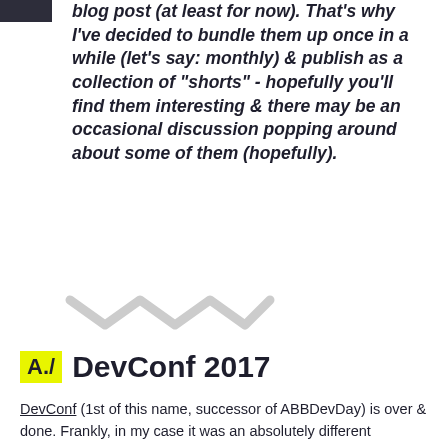blog post (at least for now). That's why I've decided to bundle them up once in a while (let's say: monthly) & publish as a collection of "shorts" - hopefully you'll find them interesting & there may be an occasional discussion popping around about some of them (hopefully).
[Figure (illustration): Decorative wave/chevron divider graphic in light gray]
A./ DevConf 2017
DevConf (1st of this name, successor of ABBDevDay) is over & done. Frankly, in my case it was an absolutely different experience - maybe I just got distracted by having my own session (and I've treated it almost too seriously), but for the very first time I was far more